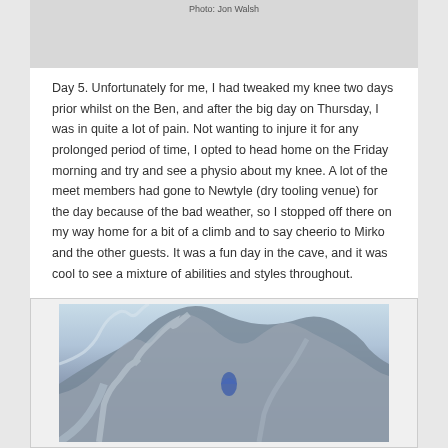[Figure (photo): Top portion of a photo (partially visible) with photo credit 'Photo: Jon Walsh']
Photo: Jon Walsh
Day 5. Unfortunately for me, I had tweaked my knee two days prior whilst on the Ben, and after the big day on Thursday, I was in quite a lot of pain. Not wanting to injure it for any prolonged period of time, I opted to head home on the Friday morning and try and see a physio about my knee. A lot of the meet members had gone to Newtyle (dry tooling venue) for the day because of the bad weather, so I stopped off there on my way home for a bit of a climb and to say cheerio to Mirko and the other guests. It was a fun day in the cave, and it was cool to see a mixture of abilities and styles throughout.
[Figure (photo): Snow-covered mountain scene with rocky cliffs covered in snow and ice, mountaineering/climbing context, blue-toned winter landscape]